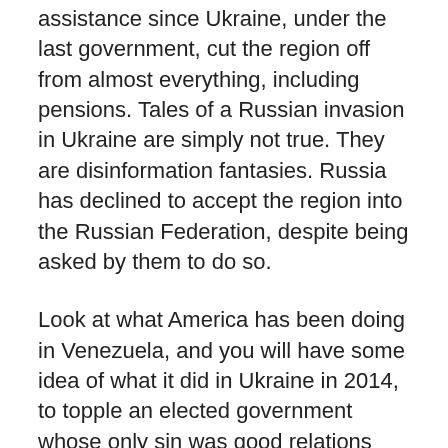assistance since Ukraine, under the last government, cut the region off from almost everything, including pensions. Tales of a Russian invasion in Ukraine are simply not true. They are disinformation fantasies. Russia has declined to accept the region into the Russian Federation, despite being asked by them to do so.
Look at what America has been doing in Venezuela, and you will have some idea of what it did in Ukraine in 2014, to topple an elected government whose only sin was good relations with Russia. All the many problems of Ukraine come out of that fact.
The coup destroyed Ukraine’s economy, destroyed important long-term relationships with Russia (the two societies have a closely entwined history going back nearly a thousand years), generated civil war in eastern Ukraine, on the rise of terrorist right-wing forces and